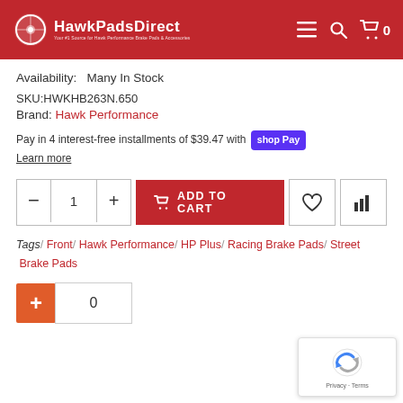HawkPadsDirect
Availability:  Many In Stock
SKU:HWKHB263N.650
Brand: Hawk Performance
Pay in 4 interest-free installments of $39.47 with Shop Pay
Learn more
[Figure (screenshot): Add to cart quantity selector with minus button, quantity 1, plus button, red ADD TO CART button, heart icon button, and bar chart icon button]
Tags/ Front/ Hawk Performance/ HP Plus/ Racing Brake Pads/ Street Brake Pads
[Figure (screenshot): Orange plus button and count box showing 0]
[Figure (screenshot): reCAPTCHA badge with Privacy and Terms links]